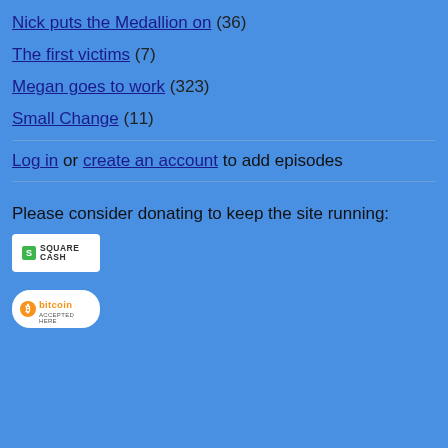Nick puts the Medallion on (36)
The first victims (7)
Megan goes to work (323)
Small Change (11)
Log in or create an account to add episodes
Please consider donating to keep the site running:
[Figure (logo): Square Cash logo — green square icon with 'S' and 'SQUARE CASH' text on white background]
[Figure (logo): Bitcoin Accepted Here logo — orange bitcoin circle icon with 'bitcoin' text and 'ACCEPTED HERE' subtext on white rounded-rectangle background]